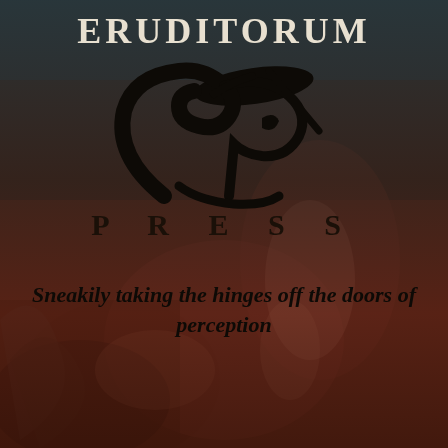[Figure (logo): Eruditorum Press logo page with stylized 'EP' script monogram, the word ERUDITORUM at top, PRESS in spaced letters below, over a dark reddish-brown classical painting background with mythological figures]
ERUDITORUM
PRESS
Sneakily taking the hinges off the doors of perception